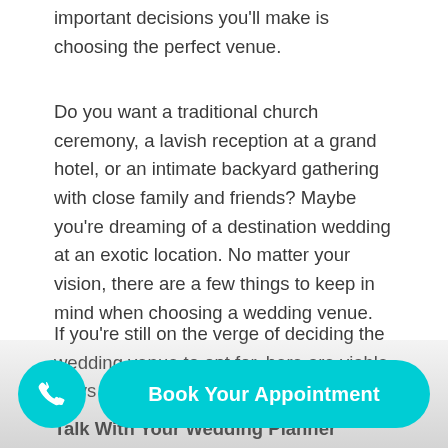important decisions you'll make is choosing the perfect venue.
Do you want a traditional church ceremony, a lavish reception at a grand hotel, or an intimate backyard gathering with close family and friends? Maybe you're dreaming of a destination wedding at an exotic location. No matter your vision, there are a few things to keep in mind when choosing a wedding venue.
If you're still on the verge of deciding the wedding venue to opt for, here are viable ways to ele…
Talk With Your Wedding Planner